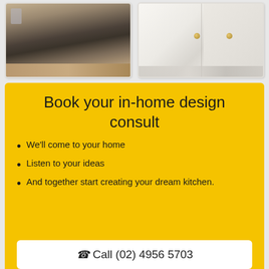[Figure (photo): Kitchen interior photo showing dark island with bar stools and stainless steel refrigerator, warm wood floors]
[Figure (photo): White cabinetry close-up with gold/brass hardware knobs on cabinet doors]
Book your in-home design consult
We'll come to your home
Listen to your ideas
And together start creating your dream kitchen.
📞 Call (02) 4956 5703